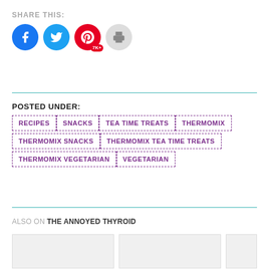SHARE THIS:
[Figure (infographic): Social share buttons: Facebook (blue circle), Twitter (blue circle), Pinterest (red circle with 7K+ badge), Print (gray circle)]
POSTED UNDER:
RECIPES
SNACKS
TEA TIME TREATS
THERMOMIX
THERMOMIX SNACKS
THERMOMIX TEA TIME TREATS
THERMOMIX VEGETARIAN
VEGETARIAN
ALSO ON THE ANNOYED THYROID